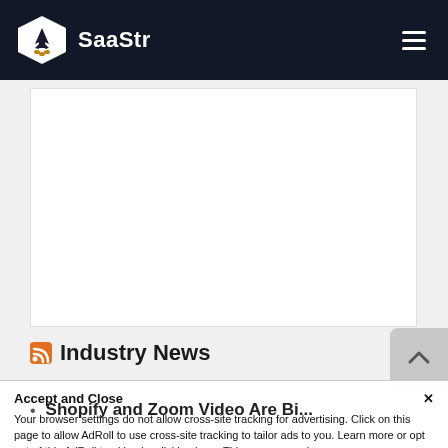SaaStr
[Figure (screenshot): White content card area — blank/placeholder content region]
Industry News
Shopify and Zoom Video Are Bi...
Accept and Close ×
Your browser settings do not allow cross-site tracking for advertising. Click on this page to allow AdRoll to use cross-site tracking to tailor ads to you. Learn more or opt out of this AdRoll tracking by clicking here. This message only appears once.